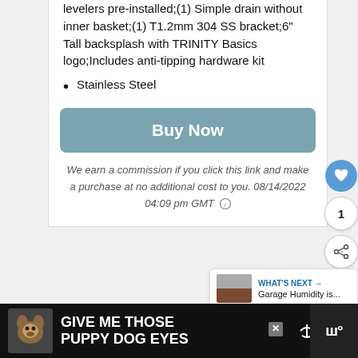levelers pre-installed;(1) Simple drain without inner basket;(1) T1.2mm 304 SS bracket;6" Tall backsplash with TRINITY Basics logo;Includes anti-tipping hardware kit
Stainless Steel
Buy Now
We earn a commission if you click this link and make a purchase at no additional cost to you. 08/14/2022 04:09 pm GMT
[Figure (infographic): What's Next panel showing thumbnail and text 'Garage Humidity is...']
[Figure (infographic): Advertisement banner: GIVE ME THOSE PUPPY DOG EYES with dog photo on dark background]